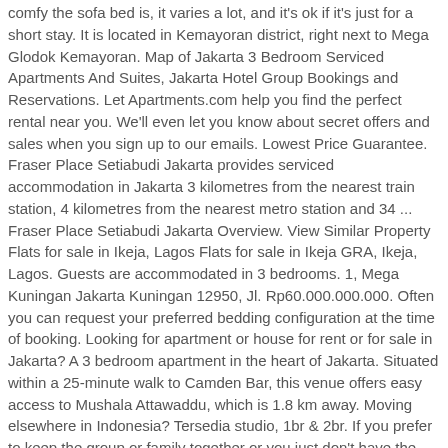comfy the sofa bed is, it varies a lot, and it's ok if it's just for a short stay. It is located in Kemayoran district, right next to Mega Glodok Kemayoran. Map of Jakarta 3 Bedroom Serviced Apartments And Suites, Jakarta Hotel Group Bookings and Reservations. Let Apartments.com help you find the perfect rental near you. We'll even let you know about secret offers and sales when you sign up to our emails. Lowest Price Guarantee. Fraser Place Setiabudi Jakarta provides serviced accommodation in Jakarta 3 kilometres from the nearest train station, 4 kilometres from the nearest metro station and 34 ... Fraser Place Setiabudi Jakarta Overview. View Similar Property Flats for sale in Ikeja, Lagos Flats for sale in Ikeja GRA, Ikeja, Lagos. Guests are accommodated in 3 bedrooms. 1, Mega Kuningan Jakarta Kuningan 12950, Jl. Rp60.000.000.000. Often you can request your preferred bedding configuration at the time of booking. Looking for apartment or house for rent or for sale in Jakarta? A 3 bedroom apartment in the heart of Jakarta. Situated within a 25-minute walk to Camden Bar, this venue offers easy access to Mushala Attawaddu, which is 1.8 km away. Moving elsewhere in Indonesia? Tersedia studio, 1br & 2br. If you prefer to keep the group or family together or you just don't have the option of splitting the group or family then the Jakarta 3 bedroom apartments or